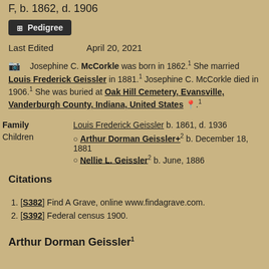F, b. 1862, d. 1906
[Figure (other): Pedigree button icon with text 'Pedigree']
Last Edited    April 20, 2021
Josephine C. McCorkle was born in 1862.1 She married Louis Frederick Geissler in 1881.1 Josephine C. McCorkle died in 1906.1 She was buried at Oak Hill Cemetery, Evansville, Vanderburgh County, Indiana, United States.1
| Field | Value |
| --- | --- |
| Family | Louis Frederick Geissler b. 1861, d. 1936 |
| Children | Arthur Dorman Geissler+2 b. December 18, 1881 | Nellie L. Geissler2 b. June, 1886 |
Citations
1. [S382] Find A Grave, online www.findagrave.com.
2. [S392] Federal census 1900.
Arthur Dorman Geissler1